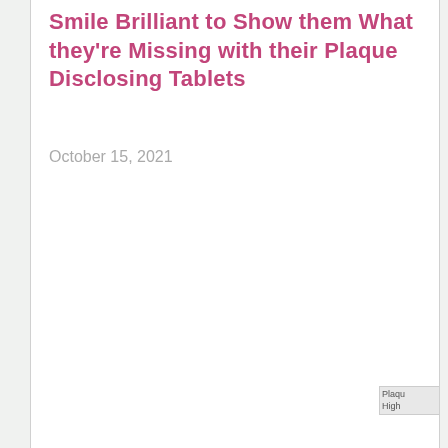Smile Brilliant to Show them What they're Missing with their Plaque Disclosing Tablets
October 15, 2021
[Figure (photo): Partially visible broken image thumbnail in bottom-right corner labeled 'Plaque Highlighting' or similar]